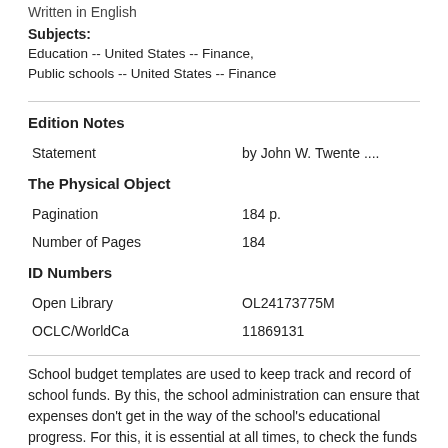Written in English
Subjects:
Education -- United States -- Finance,
Public schools -- United States -- Finance
Edition Notes
| Field | Value |
| --- | --- |
| Statement | by John W. Twente .... |
The Physical Object
| Field | Value |
| --- | --- |
| Pagination | 184 p. |
| Number of Pages | 184 |
ID Numbers
| Field | Value |
| --- | --- |
| Open Library | OL24173775M |
| OCLC/WorldCa | 11869131 |
School budget templates are used to keep track and record of school funds. By this, the school administration can ensure that expenses don't get in the way of the school's educational progress. For this, it is essential at all times, to check the funds and whether they are sufficient for the important activities that must be carried out by the